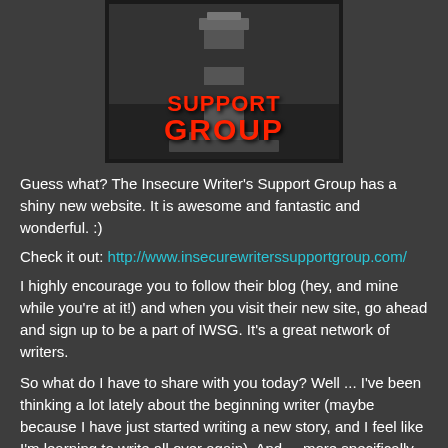[Figure (illustration): Insecure Writers Support Group logo image with lighthouse graphic in black and white background and red text reading SUPPORT GROUP]
Guess what? The Insecure Writer's Support Group has a shiny new website. It is awesome and fantastic and wonderful. :)
Check it out: http://www.insecurewriterssupportgroup.com/
I highly encourage you to follow their blog (hey, and mine while you're at it!) and when you visit their new site, go ahead and sign up to be a part of IWSG. It's a great network of writers.
So what do I have to share with you today? Well ... I've been thinking a lot lately about the beginning writer (maybe because I have just started writing a new story, and I feel like I'm learning to write all over again). And ... more specifically